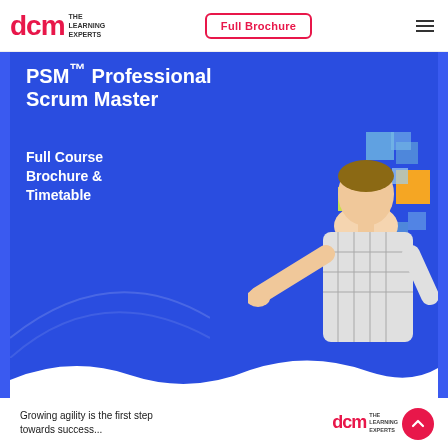DCM The Learning Experts | Full Brochure
[Figure (illustration): DCM Learning Experts promotional banner for PSM Professional Scrum Master course. Blue background with a man in a plaid shirt pointing left, surrounded by colorful squares (blue, orange, yellow, green, pink). White wave shape at bottom of banner. Text overlay reads 'PSM™ Professional Scrum Master' and 'Full Course Brochure & Timetable'.]
PSM™ Professional Scrum Master
Full Course Brochure & Timetable
Growing agility is the first step towards success...
DCM The Learning Experts